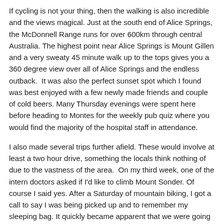If cycling is not your thing, then the walking is also incredible and the views magical. Just at the south end of Alice Springs, the McDonnell Range runs for over 600km through central Australia. The highest point near Alice Springs is Mount Gillen and a very sweaty 45 minute walk up to the tops gives you a 360 degree view over all of Alice Springs and the endless outback.  It was also the perfect sunset spot which I found was best enjoyed with a few newly made friends and couple of cold beers. Many Thursday evenings were spent here before heading to Montes for the weekly pub quiz where you would find the majority of the hospital staff in attendance.
I also made several trips further afield. These would involve at least a two hour drive, something the locals think nothing of due to the vastness of the area.  On my third week, one of the intern doctors asked if I'd like to climb Mount Sonder. Of course I said yes. After a Saturday of mountain biking, I got a call to say I was being picked up and to remember my sleeping bag. It quickly became apparent that we were going for a Sunday sunrise. We arrived in the pitch black and set about making camp and a fire. Australians often sleep in 'swags' which are like a one-man tent with a blow-up mattress.